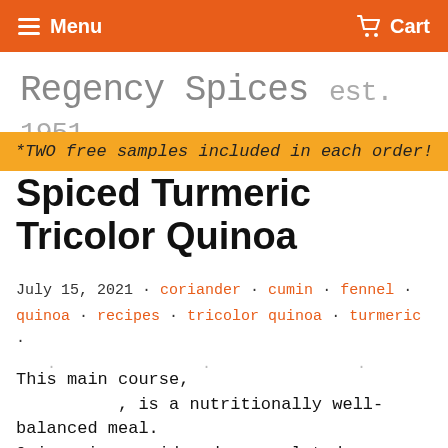Menu   Cart
Regency Spices est. 1951.
*TWO free samples included in each order!
Spiced Turmeric Tricolor Quinoa
July 15, 2021 · coriander · cumin · fennel · quinoa · recipes · tricolor quinoa · turmeric · · · · · · ·
This main course, , is a nutritionally well-balanced meal. Quinoa is considered a completed protein source, meaning it provides all 9 essential amino acids